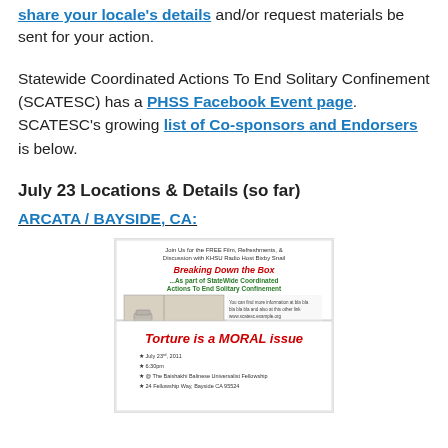share your locale's details and/or request materials be sent for your action.
Statewide Coordinated Actions To End Solitary Confinement (SCATESC) has a PHSS Facebook Event page. SCATESC's growing list of Co-sponsors and Endorsers is below.
July 23 Locations & Details (so far)
ARCATA / BAYSIDE, CA:
[Figure (photo): Event flyer for 'Breaking Down the Box' PHSS film screening and discussion event in Bayside, CA on July 23, 2011, featuring an image of a solitary confinement cell and text 'Torture is a MORAL issue']